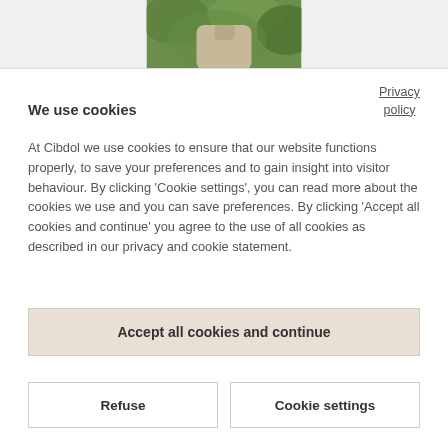[Figure (photo): Partial photo of a person outdoors with green foliage background, cropped at the top of the page]
Privacy policy
We use cookies
At Cibdol we use cookies to ensure that our website functions properly, to save your preferences and to gain insight into visitor behaviour. By clicking 'Cookie settings', you can read more about the cookies we use and you can save preferences. By clicking 'Accept all cookies and continue' you agree to the use of all cookies as described in our privacy and cookie statement.
Accept all cookies and continue
Refuse
Cookie settings